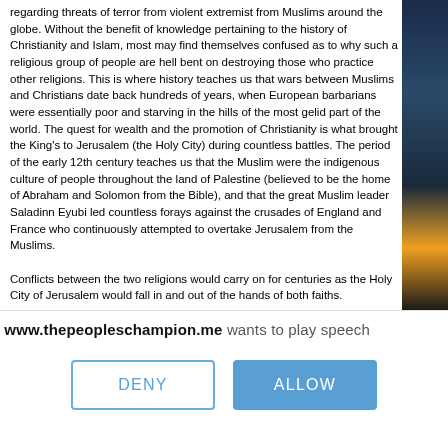regarding threats of terror from violent extremist from Muslims around the globe. Without the benefit of knowledge pertaining to the history of Christianity and Islam, most may find themselves confused as to why such a religious group of people are hell bent on destroying those who practice other religions. This is where history teaches us that wars between Muslims and Christians date back hundreds of years, when European barbarians were essentially poor and starving in the hills of the most gelid part of the world. The quest for wealth and the promotion of Christianity is what brought the King's to Jerusalem (the Holy City) during countless battles. The period of the early 12th century teaches us that the Muslim were the indigenous culture of people throughout the land of Palestine (believed to be the home of Abraham and Solomon from the Bible), and that the great Muslim leader Saladinn Eyubi led countless forays against the crusades of England and France who continuously attempted to overtake Jerusalem from the Muslims.
Conflicts between the two religions would carry on for centuries as the Holy City of Jerusalem would fall in and out of the hands of both faiths.
www.thepeopleschampion.me wants to play speech
DENY
ALLOW